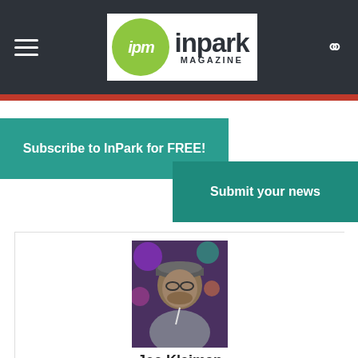IPM InPark Magazine
Subscribe to InPark for FREE!
Submit your news
[Figure (photo): Profile photo of Joe Kleiman, a man wearing a cap, in a venue with colorful lights in background]
Joe Kleiman
http://wwww.themedreality.com
Raised in San Diego on theme parks, zoos, and IMAX films, InPark's Senior Correspondent Joe Kleiman would expand his childhood loves into two decades as a projectionist and theater director within the giant screen industry. In addition to his work in commercial and museum operations